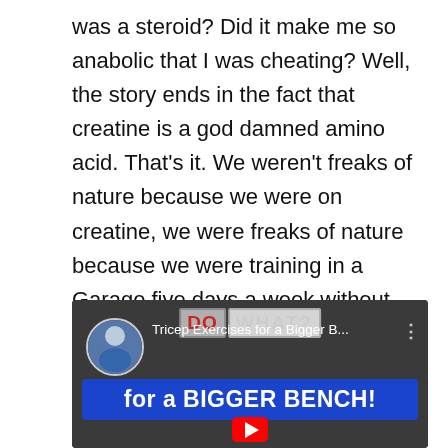was a steroid? Did it make me so anabolic that I was cheating? Well, the story ends in the fact that creatine is a god damned amino acid. That's it. We weren't freaks of nature because we were on creatine, we were freaks of nature because we were training in a Garage five days a week without heat in the depths of a cold Pennsylvania winter. Fast forward nearly two decades and here we are today.
[Figure (screenshot): YouTube video thumbnail showing 'Tricep Exercises for a Bigger B...' with 'for a BIGGER BENCH!' banner overlay. Includes channel avatar, DO WHAT? graphic, and a red play button at the bottom.]